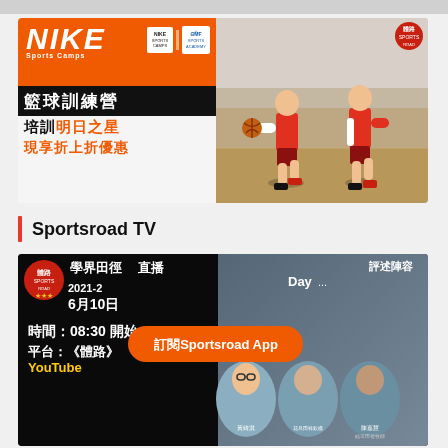[Figure (photo): Nike Sports Camps basketball training camp advertisement in Chinese, featuring two children playing basketball. Left side shows orange Nike branding with text '籃球訓練營', '培訓明日之星', '現享折上折優惠'. Right side shows two young boys in red Nike shirts playing basketball on an indoor court.]
Sportsroad TV
[Figure (screenshot): Sportsroad TV video thumbnail showing a basketball broadcast. Text includes Chinese characters for a school tournament, date 2021-2, 6月10日, 時間：08:30 開始, 平台：《體路》YouTube. An orange notification pill reads '訂閱Sportsroad App'. Right side shows commentator lineup with portraits and text '評述陣容' and 'Day...' with names 黃綺淇, 花旦田祥欽樣, 陳嘉慧, 結市田視牧師.]